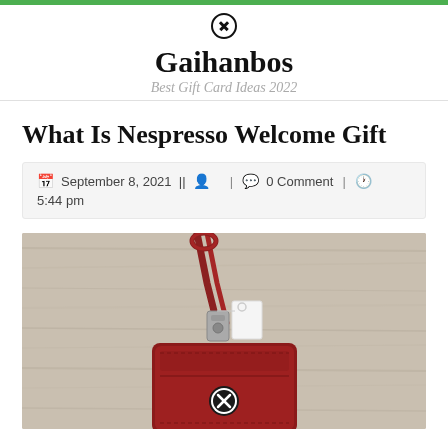Gaihanbos — Best Gift Card Ideas 2022
What Is Nespresso Welcome Gift
September 8, 2021 || [user icon] | [comment icon] 0 Comment | [clock icon] 5:44 pm
[Figure (photo): Photo of a red leather card holder with a lanyard/wrist strap, placed on a light wood surface. A white tag is attached to the card holder via a silver metal clasp.]